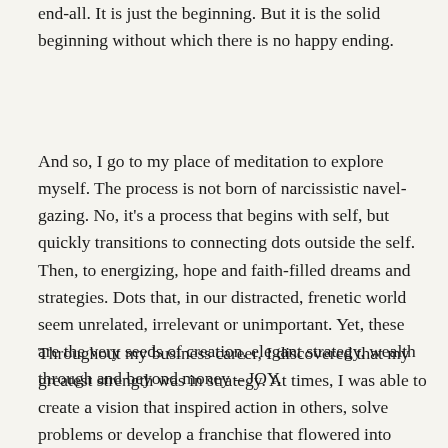end-all. It is just the beginning. But it is the solid beginning without which there is no happy ending.
And so, I go to my place of meditation to explore myself. The process is not born of narcissistic navel-gazing. No, it's a process that begins with self, but quickly transitions to connecting dots outside the self. Then, to energizing, hope and faith-filled dreams and strategies. Dots that, in our distracted, frenetic world seem unrelated, irrelevant or unimportant. Yet, these are the very seeds of creation, elegant strategy, wealth through and beyond money – JOY.
Throughout my business career, I discovered that my greatest strength was in strategy. At times, I was able to create a vision that inspired action in others, solve problems or develop a franchise that flowered into more than ten thousand stores, producing wealth and convenience for millions of people. That story is for